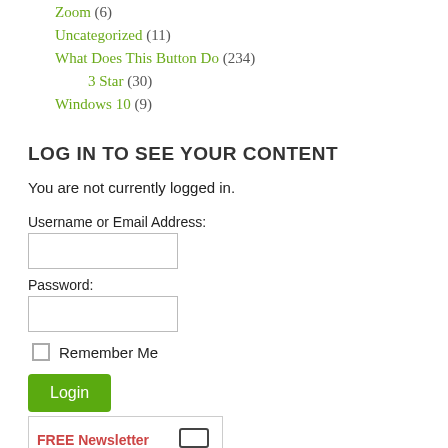Zoom (6)
Uncategorized (11)
What Does This Button Do (234)
3 Star (30)
Windows 10 (9)
LOG IN TO SEE YOUR CONTENT
You are not currently logged in.
Username or Email Address: [input field]
Password: [input field]
Remember Me [checkbox] Login [button]
» Register
» Lost your Password?
[Figure (infographic): FREE Newsletter banner with monitor icon]